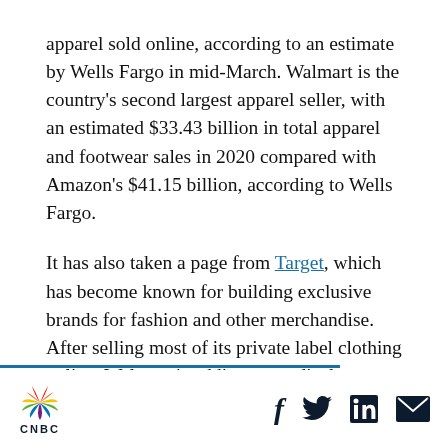apparel sold online, according to an estimate by Wells Fargo in mid-March. Walmart is the country's second largest apparel seller, with an estimated $33.43 billion in total apparel and footwear sales in 2020 compared with Amazon's $41.15 billion, according to Wells Fargo.
It has also taken a page from Target, which has become known for building exclusive brands for fashion and other merchandise. After selling most of its private label clothing online, Walmart is adding more displays to hundreds of stores, including mannequins.
CNBC | Social icons: Facebook, Twitter, LinkedIn, Email